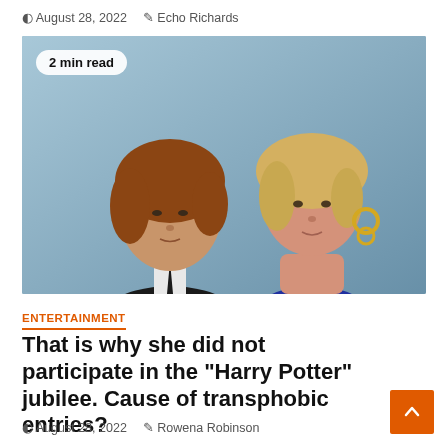August 28, 2022  Echo Richards
[Figure (photo): Two people posing at an event: a young man with reddish-brown hair wearing a black suit and tie, and a woman with blonde hair wearing a blue dress with gold earrings. A '2 min read' badge is overlaid on the photo.]
ENTERTAINMENT
That is why she did not participate in the "Harry Potter" jubilee. Cause of transphobic entries?
August 28, 2022  Rowena Robinson